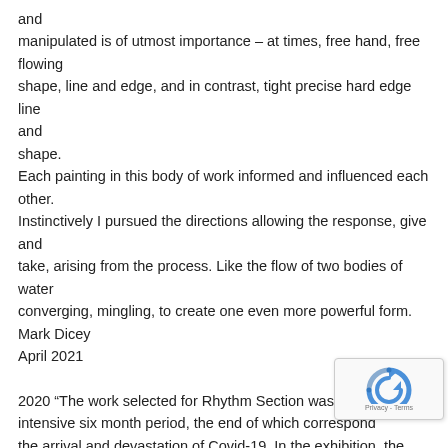and manipulated is of utmost importance – at times, free hand, free flowing shape, line and edge, and in contrast, tight precise hard edge line and shape. Each painting in this body of work informed and influenced each other. Instinctively I pursued the directions allowing the response, give and take, arising from the process. Like the flow of two bodies of water converging, mingling, to create one even more powerful form. Mark Dicey April 2021
2020 "The work selected for Rhythm Section was created during an intensive six month period, the end of which corresponded with the arrival and devastation of Covid-19. In the exhibition, the
[Figure (other): reCAPTCHA logo overlay with Privacy - Terms text]